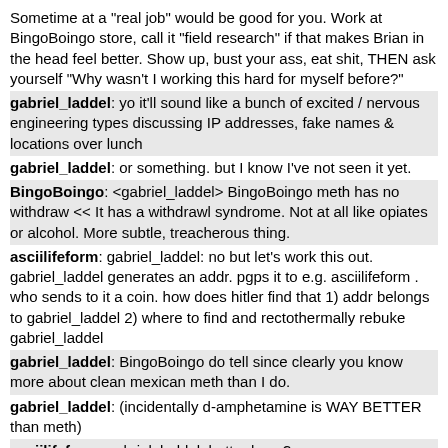Sometime at a "real job" would be good for you. Work at BingoBoingo store, call it "field research" if that makes Brian in the head feel better. Show up, bust your ass, eat shit, THEN ask yourself "Why wasn't I working this hard for myself before?"
gabriel_laddel: yo it'll sound like a bunch of excited / nervous engineering types discussing IP addresses, fake names & locations over lunch
gabriel_laddel: or something. but I know I've not seen it yet.
BingoBoingo: <gabriel_laddel> BingoBoingo meth has no withdraw << It has a withdrawl syndrome. Not at all like opiates or alcohol. More subtle, treacherous thing.
asciilifeform: gabriel_laddel: no but let's work this out. gabriel_laddel generates an addr. pgps it to e.g. asciilifeform . who sends to it a coin. how does hitler find that 1) addr belongs to gabriel_laddel 2) where to find and rectothermally rebuke gabriel_laddel
gabriel_laddel: BingoBoingo do tell since clearly you know more about clean mexican meth than I do.
gabriel_laddel: (incidentally d-amphetamine is WAY BETTER than meth)
asciilifeform: gabriel_laddel: better how ?
asciilifeform: now i'm curious
gabriel_laddel: asciilifeform regarding addy: you're looking at this the wrong way -- people with shit security ALREADY hold btc. And tracking me down is easy. Can come find me anvday in PA.